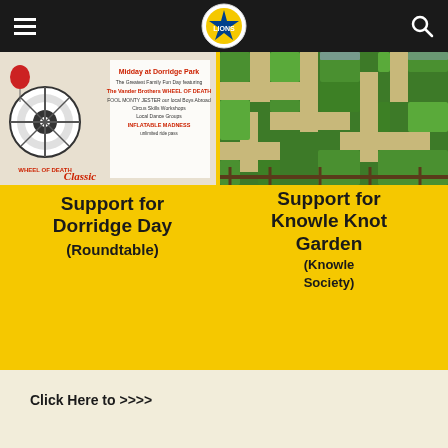Lions Club navigation header with hamburger menu and search icon
[Figure (photo): Event poster for Dorridge Day / Circus Classic featuring Wheel of Death and family fun day activities, Midday at Dorridge Park]
[Figure (photo): Aerial photo of a green hedge knot garden maze]
Support for Dorridge Day (Roundtable)
Support for Knowle Knot Garden (Knowle Society)
Click Here to >>>>